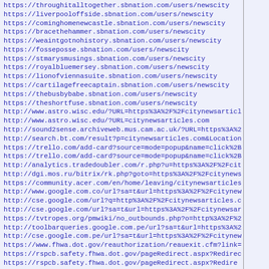https://throughitalltogether.sbnation.com/users/newscity
https://liverpooloffside.sbnation.com/users/newscity
https://cominghomenewcastle.sbnation.com/users/newscity
https://bracethehammer.sbnation.com/users/newscity
https://weaintgotnohistory.sbnation.com/users/newscity
https://fosseposse.sbnation.com/users/newscity
https://stmarysmusings.sbnation.com/users/newscity
https://royalbluemersey.sbnation.com/users/newscity
https://lionofviennasuite.sbnation.com/users/newscity
https://cartilagefreecaptain.sbnation.com/users/newscity
https://thebusbybabe.sbnation.com/users/newscity
https://theshortfuse.sbnation.com/users/newscity
http://www.astro.wisc.edu/?URL=https%3A%2F%2Fcitynewsarticl
http://www.astro.wisc.edu/?URL=citynewsarticles.com
http://sound2sense.archiveweb.mus.cam.ac.uk/?URL=https%3A%2
http://search.bt.com/result?p=citynewsarticles.com&Location
https://trello.com/add-card?source=mode=popup&name=click%2B
https://trello.com/add-card?source=mode=popup&name=click%2B
http://analytics.tradedoubler.com/r.php?u=https%3A%2F%2Fcit
http://dgi.mos.ru/bitrix/rk.php?goto=https%3A%2F%2Fcitynews
https://community.acer.com/en/home/leaving/citynewsarticles
http://www.google.com.co/url?sa=t&url=https%3A%2F%2Fcitynew
http://cse.google.com/url?q=http%3A%2F%2Fcitynewsarticles.c
http://cse.google.com/url?sa=t&url=https%3A%2F%2Fcitynewsar
https://tvtropes.org/pmwiki/no_outbounds.php?o=http%3A%2F%2
http://toolbarqueries.google.com.pe/url?sa=t&url=https%3A%2
http://cse.google.com.pe/url?sa=t&url=https%3A%2F%2Fcitynew
https://www.fhwa.dot.gov/reauthorization/reauexit.cfm?link=
https://rspcb.safety.fhwa.dot.gov/pageRedirect.aspx?Redirec
https://rspcb.safety.fhwa.dot.gov/pageRedirect.aspx?Redire